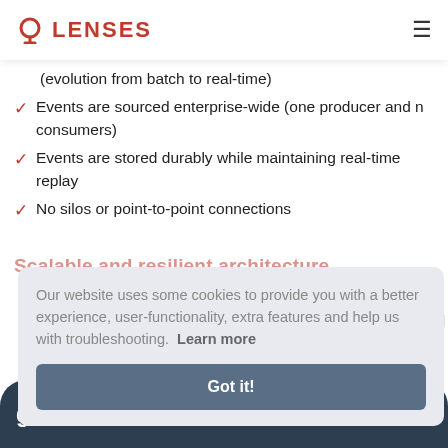LENSES
(evolution from batch to real-time)
Events are sourced enterprise-wide (one producer and n consumers)
Events are stored durably while maintaining real-time replay
No silos or point-to-point connections
Scalable and resilient architecture
Our website uses some cookies to provide you with a better experience, user-functionality, extra features and help us with troubleshooting.  Learn more
Got it!
governance controls